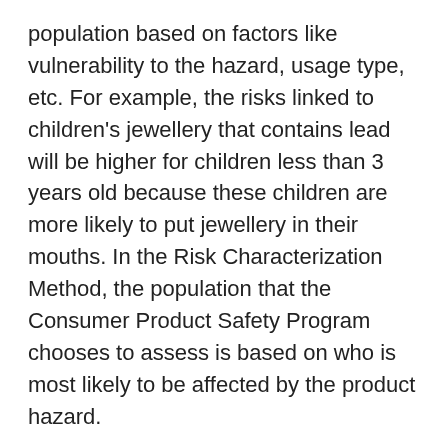population based on factors like vulnerability to the hazard, usage type, etc. For example, the risks linked to children's jewellery that contains lead will be higher for children less than 3 years old because these children are more likely to put jewellery in their mouths. In the Risk Characterization Method, the population that the Consumer Product Safety Program chooses to assess is based on who is most likely to be affected by the product hazard.
Details of the Risk